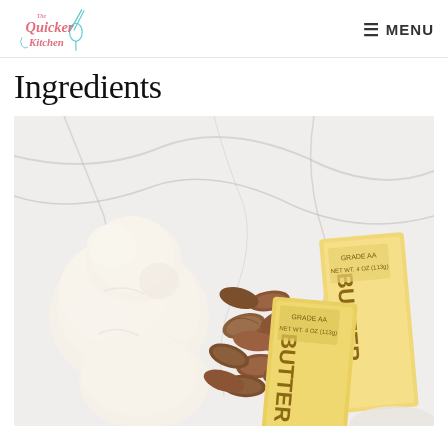The Quicker Kitchen — MENU
Ingredients
[Figure (photo): Overhead view on a white marble surface showing ingredients: balls of raw dough on the left, a pile of pecan nuts in the center, and two sticks of Grade AA butter on the right.]